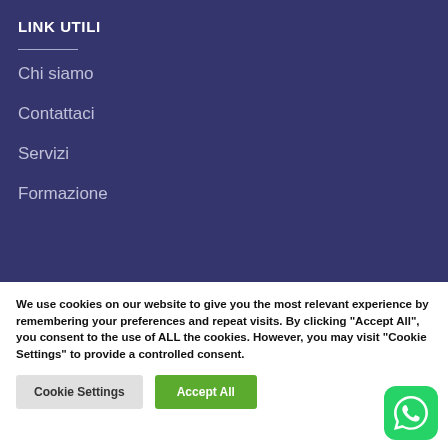LINK UTILI
Chi siamo
Contattaci
Servizi
Formazione
We use cookies on our website to give you the most relevant experience by remembering your preferences and repeat visits. By clicking “Accept All”, you consent to the use of ALL the cookies. However, you may visit "Cookie Settings" to provide a controlled consent.
Cookie Settings
Accept All